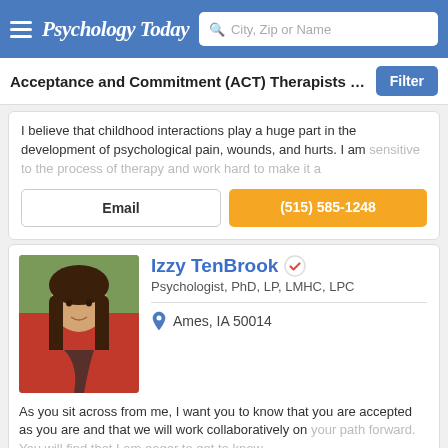Psychology Today — City, Zip or Name search header
Acceptance and Commitment (ACT) Therapists in Ames,
I believe that childhood interactions play a huge part in the development of psychological pain, wounds, and hurts. I am sensitive to the process of therapy and work hard to make it a
Email | (515) 585-1248
Izzy TenBrook
Psychologist, PhD, LP, LMHC, LPC
Ames, IA 50014
As you sit across from me, I want you to know that you are accepted as you are and that we will work collaboratively on your path forward. You will find that I am eager to get to know